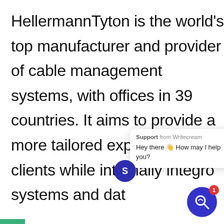HellermannTyton is the world's top manufacturer and provider of cable management systems, with offices in 39 countries. It aims to provide a more tailored experience for its clients while internally integro systems and dat
Support from Writecream
Hey there 👋 How may I help you?
HellermannTyton wants to make important data available to